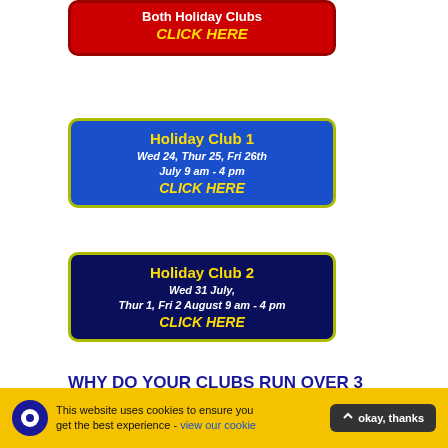[Figure (infographic): Red button: 'Both Holiday Clubs CLICK HERE']
[Figure (infographic): Blue button: 'Holiday Club 1, Wed 24, Thur 25, Fri 26th July 9 am - 4 pm, CLICK HERE']
[Figure (infographic): Dark navy button: 'Holiday Club 2, Wed 31 July, Thur 1, Fri 2 August 9 am - 4 pm, CLICK HERE']
WHY DO YOUR CLUBS RUN OVER 3 DAYS?
Our highly experienced leaders will work with your child to
This website uses cookies to ensure you get the best experience - view our cookie